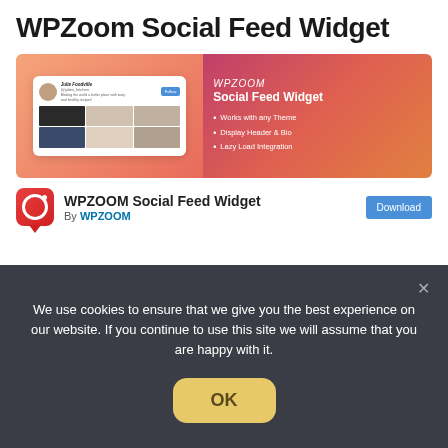WPZoom Social Feed Widget
[Figure (screenshot): Banner showing WPZoom Social Feed Widget with a white card mockup on a gradient background (left) and plugin features list on dark red/pink gradient (right). Features: Works with any Theme, Display Header & Bio, Lazy Load Integration.]
[Figure (screenshot): Plugin listing row with WPZoom Social Feed Widget icon (red rounded square with camera icon), plugin name 'WPZOOM Social Feed Widget', 'By WPZOOM' subtitle, and a blue Download button.]
We use cookies to ensure that we give you the best experience on our website. If you continue to use this site we will assume that you are happy with it.